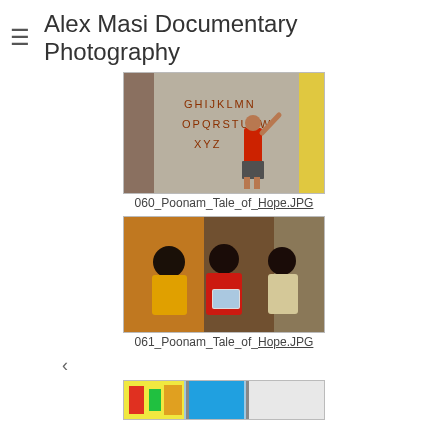≡ Alex Masi Documentary Photography
[Figure (photo): A child in a red shirt writing alphabet letters on a wall/chalkboard. Letters G H I J K L M N, O P Q R S T U V W, X Y Z visible on the wall.]
060_Poonam_Tale_of_Hope.JPG
[Figure (photo): Three children gathered around and looking at a tablet/device. A boy in yellow on the left, a girl in red in the center holding the device, another girl on the right.]
061_Poonam_Tale_of_Hope.JPG
[Figure (photo): Partial view of a third photo at the bottom of the page, showing colorful outdoor scene.]